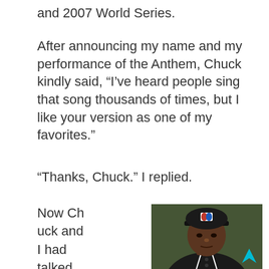and 2007 World Series.
After announcing my name and my performance of the Anthem, Chuck kindly said, “I’ve heard people sing that song thousands of times, but I like your version as one of my favorites.”
“Thanks, Chuck.” I replied.
Now Chuck and I had talked about baseball in the past, so I felt comfort
[Figure (photo): A Black man wearing a dark MLB umpire uniform and dark cap with the MLB logo, looking directly at the camera with a serious expression. Background is dark green/olive.]